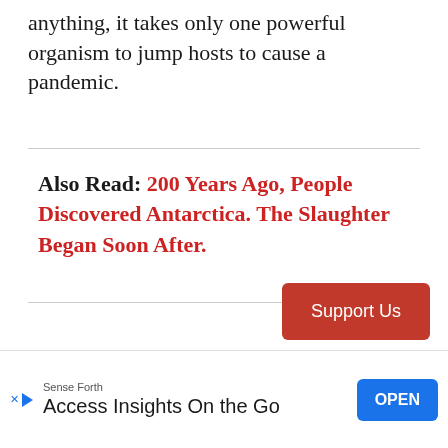anything, it takes only one powerful organism to jump hosts to cause a pandemic.
Also Read: 200 Years Ago, People Discovered Antarctica. The Slaughter Began Soon After.
Support Us
Sense Forth
Access Insights On the Go
OPEN